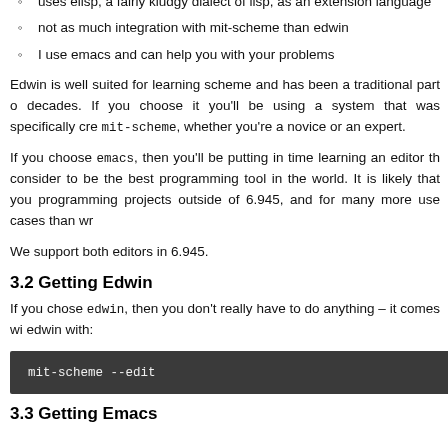uses elisp, a fairly kludgy dialect of lisp, as an extension language
not as much integration with mit-scheme than edwin
I use emacs and can help you with your problems
Edwin is well suited for learning scheme and has been a traditional part of decades. If you choose it you'll be using a system that was specifically created for mit-scheme, whether you're a novice or an expert.
If you choose emacs, then you'll be putting in time learning an editor that consider to be the best programming tool in the world. It is likely that you programming projects outside of 6.945, and for many more use cases than wr
We support both editors in 6.945.
3.2 Getting Edwin
If you chose edwin, then you don't really have to do anything – it comes wi edwin with:
mit-scheme --edit
3.3 Getting Emacs